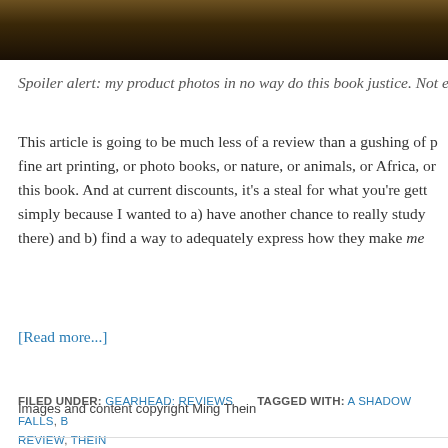[Figure (photo): Partial view of a dark photo strip at the top, showing a dark brown/golden textured surface (possibly wood or bark).]
Spoiler alert: my product photos in no way do this book justice. Not e
This article is going to be much less of a review than a gushing of p fine art printing, or photo books, or nature, or animals, or Africa, or this book. And at current discounts, it's a steal for what you're gett simply because I wanted to a) have another chance to really study there) and b) find a way to adequately express how they make me
[Read more...]
FILED UNDER: GEARHEAD: REVIEWS   TAGGED WITH: A SHADOW FALLS, B REVIEW, THEIN
Images and content copyright Ming Thein